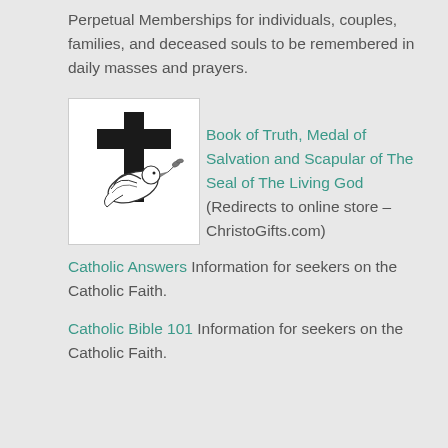Perpetual Memberships for individuals, couples, families, and deceased souls to be remembered in daily masses and prayers.
[Figure (illustration): Logo with a Christian cross and a dove holding an olive branch, on white background]
Book of Truth, Medal of Salvation and Scapular of The Seal of The Living God (Redirects to online store – ChristoGifts.com)
Catholic Answers Information for seekers on the Catholic Faith.
Catholic Bible 101 Information for seekers on the Catholic Faith.